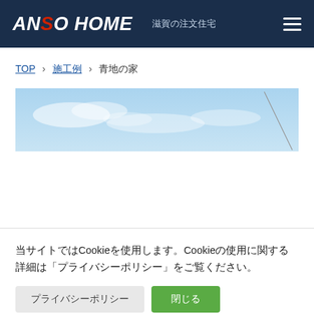ANSO HOME　滋賀の注文住宅
TOP > 施工例 > 青地の家
[Figure (photo): Exterior photo of a house against a blue sky with clouds; image partially visible as a wide horizontal strip]
当サイトではCookieを使用します。Cookieの使用に関する詳細は「プライバシーポリシー」をご覧ください。
プライバシーポリシー　閉じる